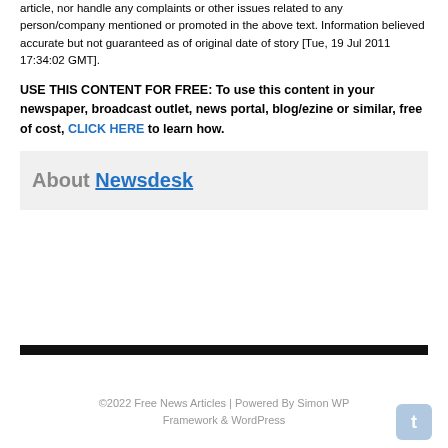article, nor handle any complaints or other issues related to any person/company mentioned or promoted in the above text. Information believed accurate but not guaranteed as of original date of story [Tue, 19 Jul 2011 17:34:02 GMT].
USE THIS CONTENT FOR FREE: To use this content in your newspaper, broadcast outlet, news portal, blog/ezine or similar, free of cost, CLICK HERE to learn how.
About Newsdesk
©2022 Free News Articles | Powered By Simon WP Framework & WordPress